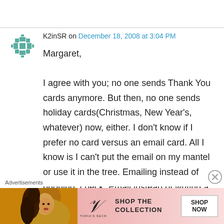K2inSR on December 18, 2008 at 3:04 PM
Margaret,

I agree with you; no one sends Thank You cards anymore. But then, no one sends holiday cards(Christmas, New Year's, whatever) now, either. I don't know if I prefer no card versus an email card. All I know is I can't put the email on my mantel or use it in the tree. Emailing instead of phoning, check. Email instead of writing a letter, maybe. Blogging instead of killing your neighbor, check. Even (choke) thank you's by
Advertisements
[Figure (other): Victoria's Secret advertisement banner with woman photo, VS logo, 'SHOP THE COLLECTION' text, and 'SHOP NOW' button]